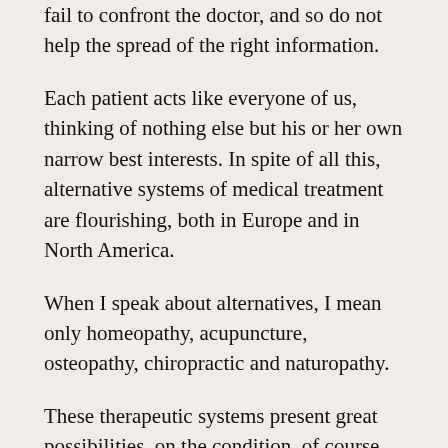wants to insult him. With this cunning approach, they fail to confront the doctor, and so do not help the spread of the right information.
Each patient acts like everyone of us, thinking of nothing else but his or her own narrow best interests. In spite of all this, alternative systems of medical treatment are flourishing, both in Europe and in North America.
When I speak about alternatives, I mean only homeopathy, acupuncture, osteopathy, chiropractic and naturopathy.
These therapeutic systems present great possibilities, on the condition, of course, that they are properly applied. Here too, as elsewhere, there is scope for makeshift practice and exploitation.
By using alternative medicine as leverage, the state